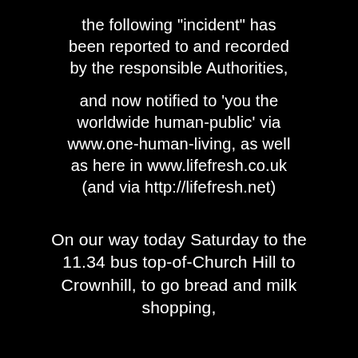the following "incident" has been reported to and recorded by the responsible Authorities,
and now notified to 'you the worldwide human-public' via www.one-human-living, as well as here in www.lifefresh.co.uk (and via http://lifefresh.net)
On our way today Saturday to the 11.34 bus top-of-Church Hill to Crownhill, to go bread and milk shopping,